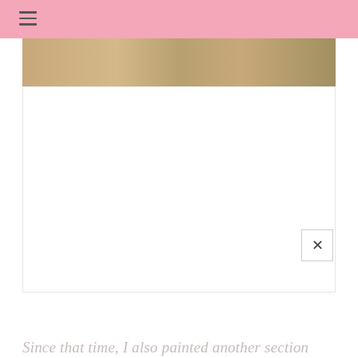≡
[Figure (photo): A horizontal photo strip showing what appears to be a painted or decorated surface with warm golden/brown tones]
[Figure (other): Large white content card area below the photo strip, mostly blank white space with a close (×) button in the bottom-right corner]
Since that time, I also painted another section